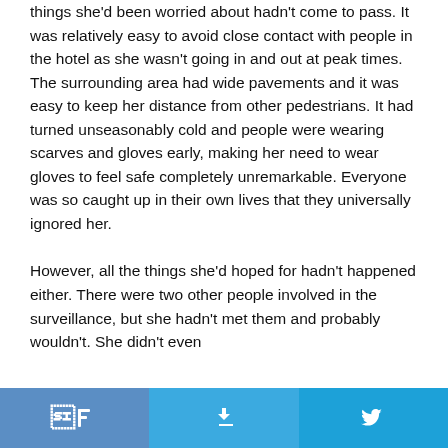things she'd been worried about hadn't come to pass. It was relatively easy to avoid close contact with people in the hotel as she wasn't going in and out at peak times. The surrounding area had wide pavements and it was easy to keep her distance from other pedestrians. It had turned unseasonably cold and people were wearing scarves and gloves early, making her need to wear gloves to feel safe completely unremarkable. Everyone was so caught up in their own lives that they universally ignored her.
However, all the things she'd hoped for hadn't happened either. There were two other people involved in the surveillance, but she hadn't met them and probably wouldn't. She didn't even
Facebook share | Facebook share | Twitter share